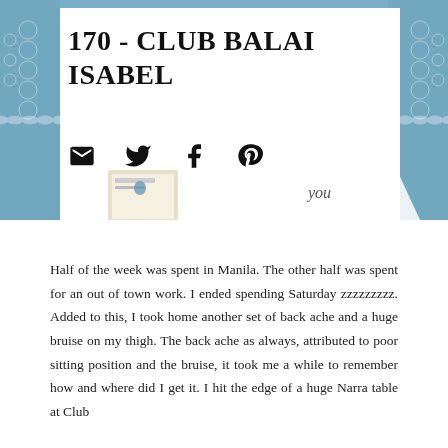[Figure (photo): Blue denim/lace fabric background with envelopes and a small booklet/card visible, partially covered by a white card overlay. Social sharing icons (email, twitter, facebook, pinterest) are displayed on the white overlay area.]
170 - CLUB BALAI ISABEL
Half of the week was spent in Manila. The other half was spent for an out of town work. I ended spending Saturday zzzzzzzzz. Added to this, I took home another set of back ache and a huge bruise on my thigh. The back ache as always, attributed to poor sitting position and the bruise, it took me a while to remember how and where did I get it. I hit the edge of a huge Narra table at Club